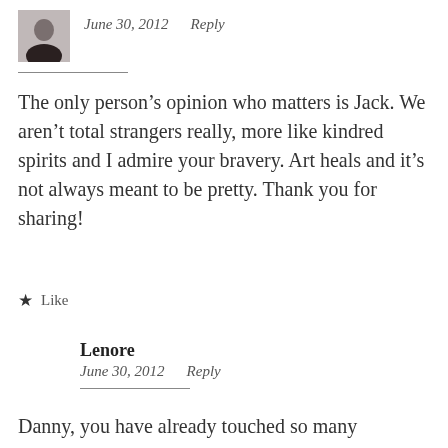[Figure (photo): Small avatar/profile photo of a person]
June 30, 2012   Reply
The only person’s opinion who matters is Jack. We aren’t total strangers really, more like kindred spirits and I admire your bravery. Art heals and it’s not always meant to be pretty. Thank you for sharing!
★ Like
Lenore
June 30, 2012   Reply
Danny, you have already touched so many